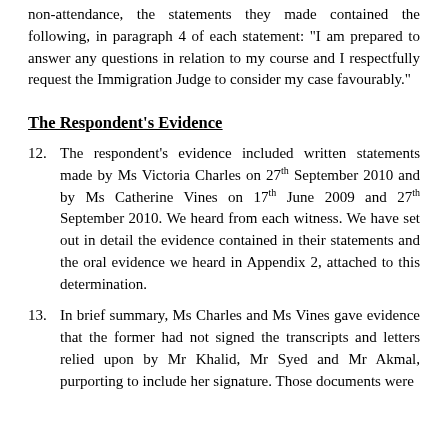non-attendance, the statements they made contained the following, in paragraph 4 of each statement: "I am prepared to answer any questions in relation to my course and I respectfully request the Immigration Judge to consider my case favourably."
The Respondent's Evidence
12. The respondent's evidence included written statements made by Ms Victoria Charles on 27th September 2010 and by Ms Catherine Vines on 17th June 2009 and 27th September 2010. We heard from each witness. We have set out in detail the evidence contained in their statements and the oral evidence we heard in Appendix 2, attached to this determination.
13. In brief summary, Ms Charles and Ms Vines gave evidence that the former had not signed the transcripts and letters relied upon by Mr Khalid, Mr Syed and Mr Akmal, purporting to include her signature. Those documents were